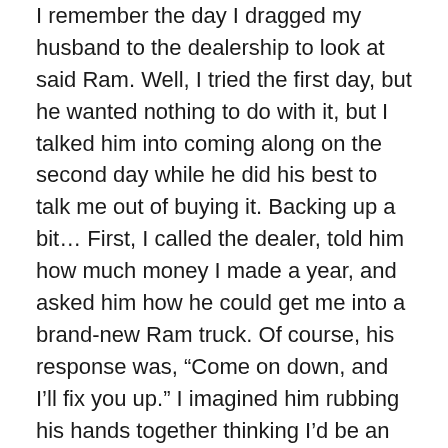I remember the day I dragged my husband to the dealership to look at said Ram. Well, I tried the first day, but he wanted nothing to do with it, but I talked him into coming along on the second day while he did his best to talk me out of buying it. Backing up a bit… First, I called the dealer, told him how much money I made a year, and asked him how he could get me into a brand-new Ram truck. Of course, his response was, “Come on down, and I’ll fix you up.” I imagined him rubbing his hands together thinking I’d be an easy sell.
The day we went to look and test-drive one—the dealer, a tall, dark, and handsome guy ignored my husband and totally catered to me, since he knew this truck would be mine and all mine.
We took it for a test drive, all three of us. The dealer knew who’d be paying his commission, so he pushed his way...